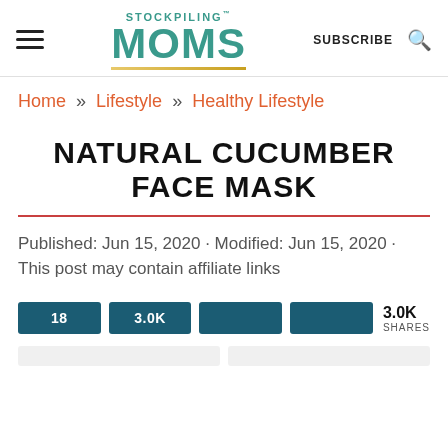STOCKPILING MOMS | SUBSCRIBE
Home » Lifestyle » Healthy Lifestyle
NATURAL CUCUMBER FACE MASK
Published: Jun 15, 2020 · Modified: Jun 15, 2020 · This post may contain affiliate links
18  3.0K  3.0K SHARES